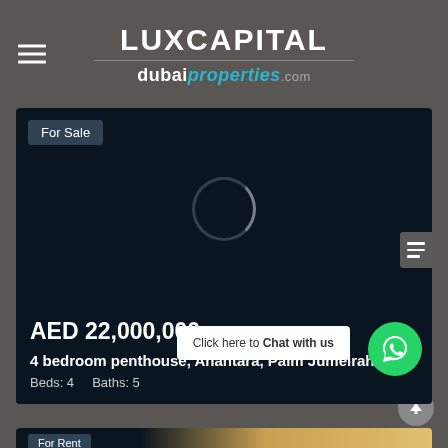LUXCAPITAL dubaiproperties.com
[Figure (screenshot): Dark real estate listing card showing a property for sale with loading spinner, price AED 22,000,000, title '4 bedroom penthouse, Anantara, Palm Jumeirah', Beds: 4, Baths: 5, with a Chat with us button and WhatsApp icon]
For Sale
AED 22,000,000
4 bedroom penthouse, Anantara, Palm Jumeirah
Beds: 4    Baths: 5
Click here to Chat with us
[Figure (screenshot): Partially visible second property card with For Rent badge]